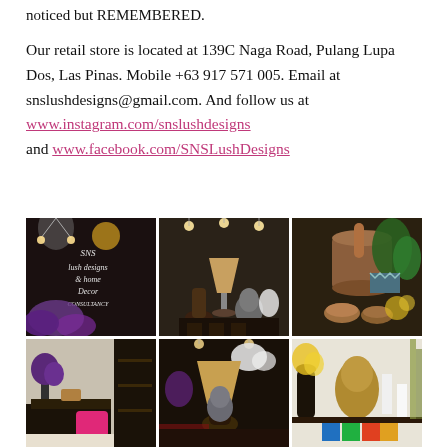noticed but REMEMBERED.
Our retail store is located at 139C Naga Road, Pulang Lupa Dos, Las Pinas. Mobile +63 917 571 005. Email at snslushdesigns@gmail.com. And follow us at www.instagram.com/snslushdesigns and www.facebook.com/SNSLushDesigns
[Figure (photo): 6-photo grid collage of SNS Lush Designs store showing signage, interior displays with lamps, Buddha heads, flowers, and decorative home items]